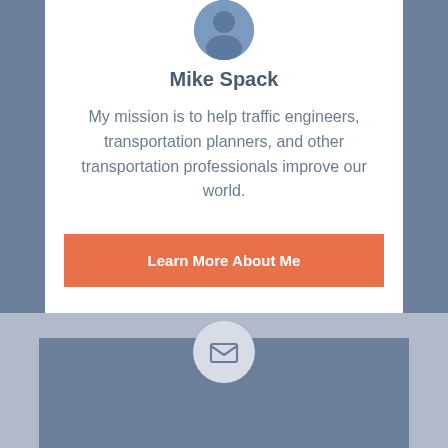[Figure (photo): Circular profile photo of Mike Spack, partially cropped at top]
Mike Spack
My mission is to help traffic engineers, transportation planners, and other transportation professionals improve our world.
[Figure (other): Orange button labeled 'Learn More About Me']
[Figure (other): Email/envelope icon inside a light gray circle, on a dark blue-gray card background at the bottom of the page]